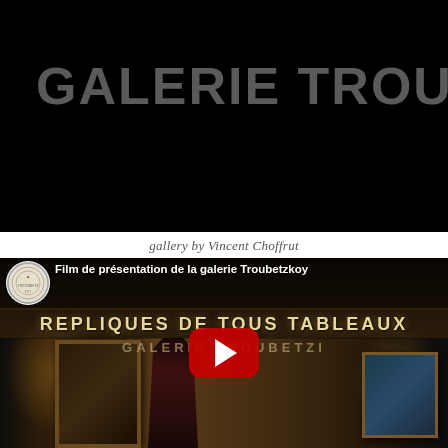GALERIE TROUBETZI
[Figure (screenshot): Menu button with hamburger icon inside a dark bordered box]
gallery by Vincent Choffrut
[Figure (screenshot): YouTube video thumbnail showing the storefront of Galerie Troubetzkoy at night with text 'Film de présentation de la galerie Troubetzkoy' and 'REPLIQUES DE TOUS TABLEAUX', featuring a YouTube play button overlay]